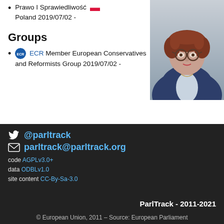Prawo I Sprawiedliwość [PL flag] Poland 2019/07/02 -
Groups
ECR Member European Conservatives and Reformists Group 2019/07/02 -
[Figure (photo): Portrait photo of a woman with curly auburn hair, glasses, wearing a dark navy blazer over a light top, with a necklace.]
@parltrack
parltrack@parltrack.org
code AGPLv3.0+
data ODBLv1.0
site content CC-By-Sa-3.0
ParlTrack - 2011-2021
© European Union, 2011 – Source: European Parliament